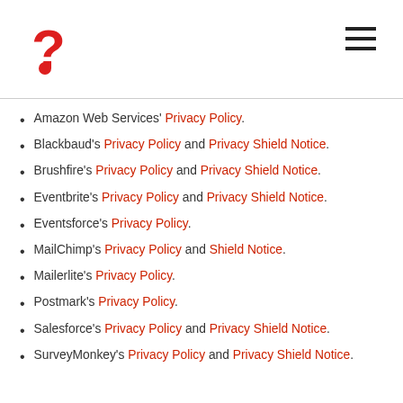Logo and navigation header
Amazon Web Services' Privacy Policy.
Blackbaud's Privacy Policy and Privacy Shield Notice.
Brushfire's Privacy Policy and Privacy Shield Notice.
Eventbrite's Privacy Policy and Privacy Shield Notice.
Eventsforce's Privacy Policy.
MailChimp's Privacy Policy and Shield Notice.
Mailerlite's Privacy Policy.
Postmark's Privacy Policy.
Salesforce's Privacy Policy and Privacy Shield Notice.
SurveyMonkey's Privacy Policy and Privacy Shield Notice.